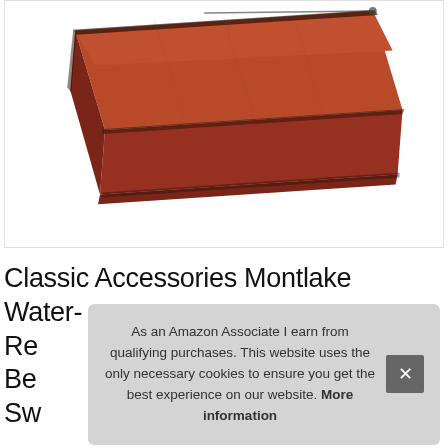[Figure (photo): A rectangular bench cushion in terracotta/brick red color with piping trim around the edges and a zipper visible at the top, photographed at an angle on a white background inside a bordered product image box.]
Classic Accessories Montlake Water-Re Be Sw
As an Amazon Associate I earn from qualifying purchases. This website uses the only necessary cookies to ensure you get the best experience on our website. More information